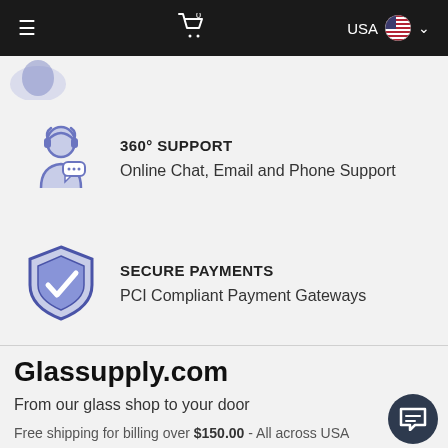≡  🛒⁰  USA 🇺🇸 ∨
[Figure (illustration): Partial logo or icon at top left below nav bar]
[Figure (illustration): 360 degree support icon: blue/purple outline of person with headset and chat bubbles]
360° SUPPORT
Online Chat, Email and Phone Support
[Figure (illustration): Secure payments icon: blue/purple shield with checkmark]
SECURE PAYMENTS
PCI Compliant Payment Gateways
Glassupply.com
From our glass shop to your door
Free shipping for billing over $150.00 - All across USA